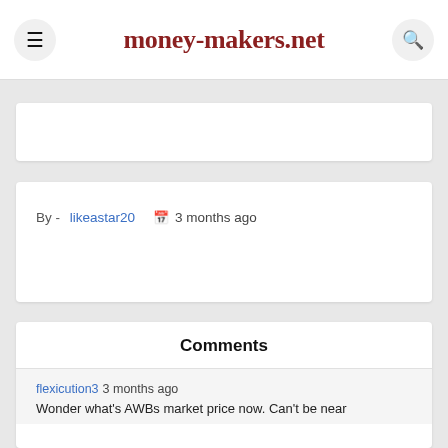money-makers.net
By - likeastar20   3 months ago
Comments
flexicution3 3 months ago
Wonder what's AWBs market price now. Can't be near